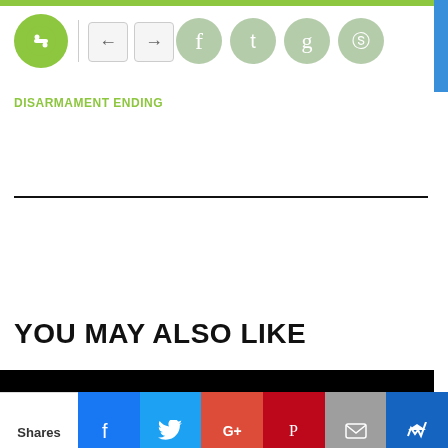DISARMAMENT ENDING
YOU MAY ALSO LIKE
This website uses cookies to ensure you get the best experience on our website.
More info
Got it!
Shares | Facebook | Twitter | Google+ | Pinterest | Email | Crown